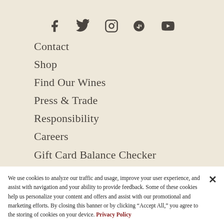[Figure (other): Social media icons row: Facebook, Twitter, Instagram, Yelp, YouTube]
Contact
Shop
Find Our Wines
Press & Trade
Responsibility
Careers
Gift Card Balance Checker
We use cookies to analyze our traffic and usage, improve your user experience, and assist with navigation and your ability to provide feedback. Some of these cookies help us personalize your content and offers and assist with our promotional and marketing efforts. By closing this banner or by clicking “Accept All,” you agree to the storing of cookies on your device. Privacy Policy